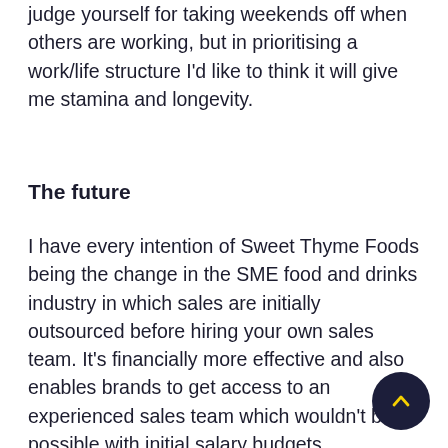judge yourself for taking weekends off when others are working, but in prioritising a work/life structure I'd like to think it will give me stamina and longevity.
The future
I have every intention of Sweet Thyme Foods being the change in the SME food and drinks industry in which sales are initially outsourced before hiring your own sales team. It's financially more effective and also enables brands to get access to an experienced sales team which wouldn't be possible with initial salary budgets.
We'll continue to get more clients, hire more team members, which can either be lateral (ie work on the same